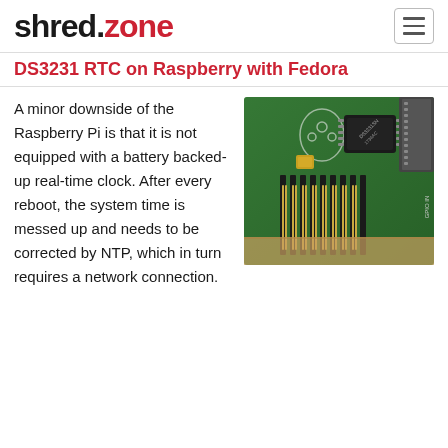shred.zone
DS3231 RTC on Raspberry with Fedora
[Figure (photo): Close-up photo of a DS3231 RTC module mounted on a Raspberry Pi GPIO header. The green circuit board shows the DS3231 chip with marking DS3231SN and GPIO header pins.]
A minor downside of the Raspberry Pi is that it is not equipped with a battery backed-up real-time clock. After every reboot, the system time is messed up and needs to be corrected by NTP, which in turn requires a network connection.